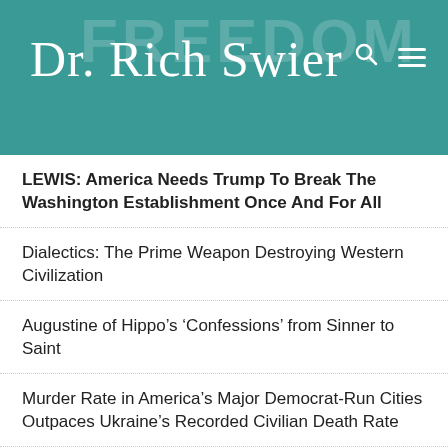Dr. Rich Swier
LEWIS: America Needs Trump To Break The Washington Establishment Once And For All
Dialectics: The Prime Weapon Destroying Western Civilization
Augustine of Hippo’s ‘Confessions’ from Sinner to Saint
Murder Rate in America’s Major Democrat-Run Cities Outpaces Ukraine’s Recorded Civilian Death Rate
DOCUMENTS: 44 Percent of Pregnant